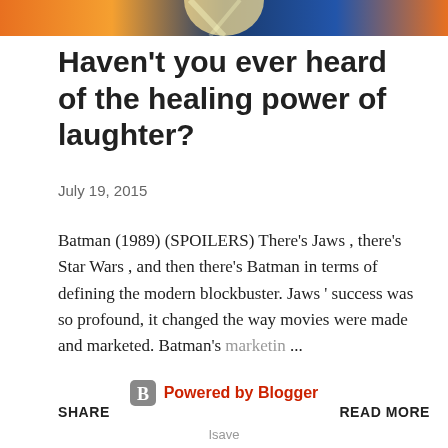[Figure (photo): Partial colorful image at the top of the page, showing orange and blue tones, appears to be a movie-related image cropped at the top]
Haven't you ever heard of the healing power of laughter?
July 19, 2015
Batman (1989) (SPOILERS) There's Jaws , there's Star Wars , and then there's Batman in terms of defining the modern blockbuster. Jaws ' success was so profound, it changed the way movies were made and marketed. Batman's marketin ...
SHARE
READ MORE
Powered by Blogger
Isave